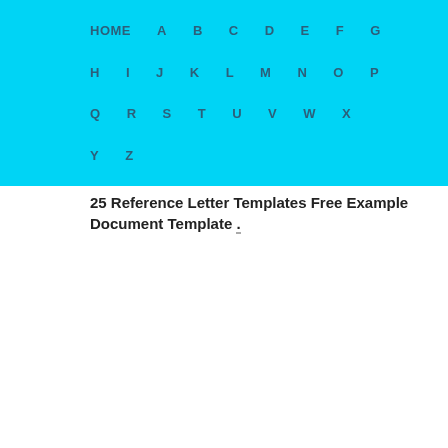HOME A B C D E F G H I J K L M N O P Q R S T U V W X Y Z
25 Reference Letter Templates Free Example Document Template .
[Figure (screenshot): Preview of a Child Custody Character Reference Letter document template with address, salutation, and body paragraphs]